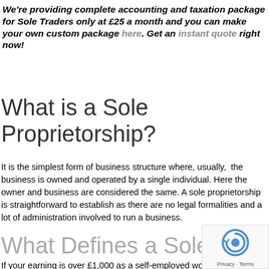We're providing complete accounting and taxation package for Sole Traders only at £25 a month and you can make your own custom package here. Get an instant quote right now!
What is a Sole Proprietorship?
It is the simplest form of business structure where, usually,  the business is owned and operated by a single individual. Here the owner and business are considered the same. A sole proprietorship is straightforward to establish as there are no legal formalities and a lot of administration involved to run a business.
What Defines a Sole Trad…
If your earning is over £1,000 as a self-employed worker in…